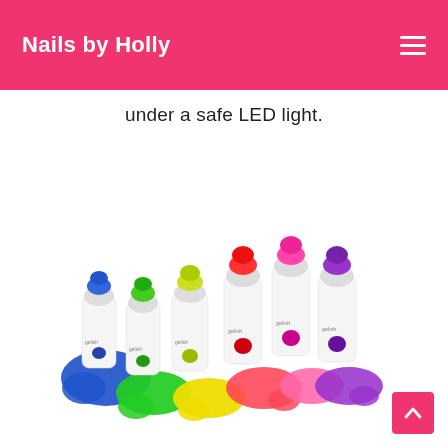Nails by Holly
under a safe LED light.
[Figure (photo): Six Gelish nail polish bottles with colorful caps (blue, green, yellow-green, red, pink, purple) arranged in a row, each with a colorful paint splash puddle beneath them in matching colors.]
[Figure (other): Back to top button - pink square with upward chevron arrow]